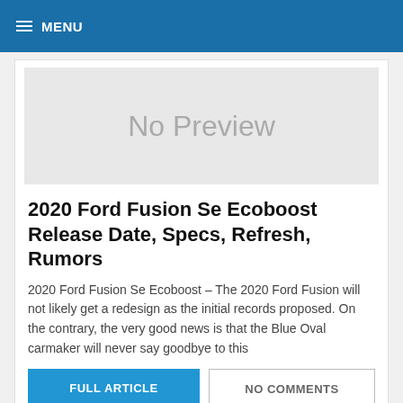MENU
[Figure (other): No Preview placeholder image with light gray background]
2020 Ford Fusion Se Ecoboost Release Date, Specs, Refresh, Rumors
2020 Ford Fusion Se Ecoboost – The 2020 Ford Fusion will not likely get a redesign as the initial records proposed. On the contrary, the very good news is that the Blue Oval carmaker will never say goodbye to this
FULL ARTICLE    NO COMMENTS